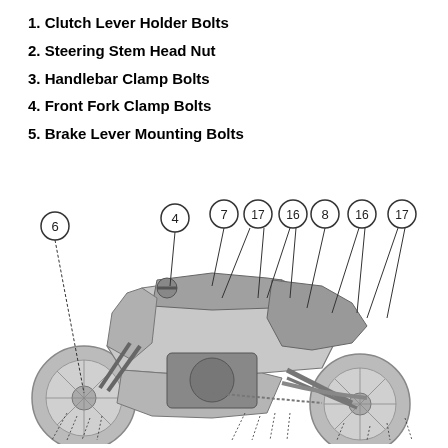1. Clutch Lever Holder Bolts
2. Steering Stem Head Nut
3. Handlebar Clamp Bolts
4. Front Fork Clamp Bolts
5. Brake Lever Mounting Bolts
[Figure (engineering-diagram): Side-view diagram of a sport motorcycle with numbered callout circles pointing to various components. Callout numbers visible: 6 (front left area), 4 (handlebar/steering area), 7, 17, 16, 8 (mid-top area), 16, 17 (rear area). Lines extend from each circled number down to the corresponding part on the motorcycle.]